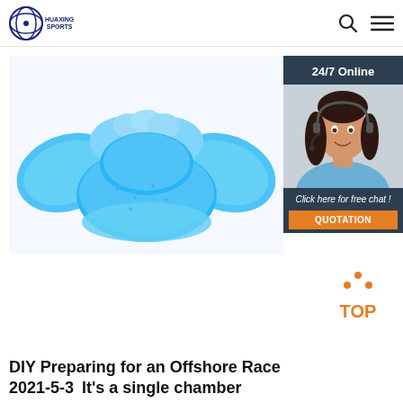HUAXING SPORTS
[Figure (photo): Blue children's swim vest/puddle jumper flotation device, light blue color, seen from front]
[Figure (photo): 24/7 Online customer service panel with photo of smiling woman with headset, and 'Click here for free chat!' text with QUOTATION button]
[Figure (other): TOP button icon with orange text and orange dots above]
DIY Preparing for an Offshore Race 2021-5-3  It's a single chamber...